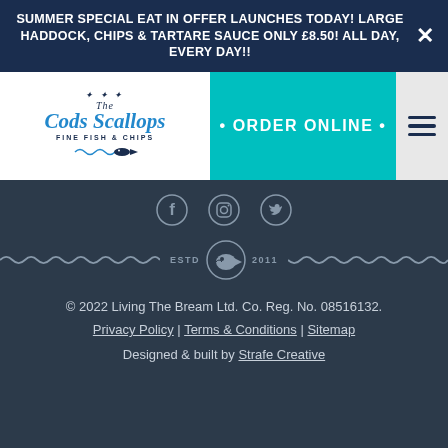SUMMER SPECIAL EAT IN OFFER LAUNCHES TODAY! LARGE HADDOCK, CHIPS & TARTARE SAUCE ONLY £8.50! ALL DAY, EVERY DAY!!
[Figure (logo): The Cods Scallops Fine Fish & Chips logo with decorative fish illustration]
• ORDER ONLINE •
[Figure (infographic): Social media icons: Facebook, Instagram, Twitter]
[Figure (infographic): Wavy decorative border with ESTD 2011 badge and fish logo circle]
© 2022 Living The Bream Ltd. Co. Reg. No. 08516132.
Privacy Policy | Terms & Conditions | Sitemap
Designed & built by Strafe Creative